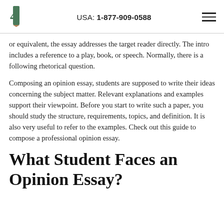USA: 1-877-909-0588
or equivalent, the essay addresses the target reader directly. The intro includes a reference to a play, book, or speech. Normally, there is a following rhetorical question.
Composing an opinion essay, students are supposed to write their ideas concerning the subject matter. Relevant explanations and examples support their viewpoint. Before you start to write such a paper, you should study the structure, requirements, topics, and definition. It is also very useful to refer to the examples. Check out this guide to compose a professional opinion essay.
What Student Faces an Opinion Essay?